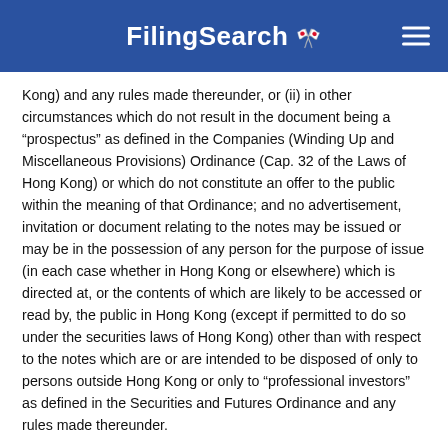FilingSearch
Kong) and any rules made thereunder, or (ii) in other circumstances which do not result in the document being a “prospectus” as defined in the Companies (Winding Up and Miscellaneous Provisions) Ordinance (Cap. 32 of the Laws of Hong Kong) or which do not constitute an offer to the public within the meaning of that Ordinance; and no advertisement, invitation or document relating to the notes may be issued or may be in the possession of any person for the purpose of issue (in each case whether in Hong Kong or elsewhere) which is directed at, or the contents of which are likely to be accessed or read by, the public in Hong Kong (except if permitted to do so under the securities laws of Hong Kong) other than with respect to the notes which are or are intended to be disposed of only to persons outside Hong Kong or only to “professional investors” as defined in the Securities and Futures Ordinance and any rules made thereunder.
This prospectus supplement, along with the accompanying prospectus supplement and the accompanying prospectus have not been registered as a prospectus with the Monetary Authority of Singapore. Accordingly, this prospectus supplement, along with the accompanying prospectus supplement and the accompanying prospectus and any other document or material in connection with the offer or sale, or invitation for subscription or purchase, of the notes may not be